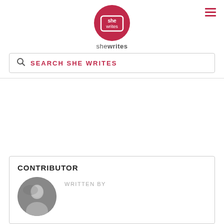[Figure (logo): She Writes logo — pink circle with 'she writes' text inside a book/rectangle icon, with 'shewrites' text below]
SEARCH SHE WRITES
CONTRIBUTOR
WRITTEN BY
[Figure (photo): Black and white circular portrait photo of a woman with brown hair]